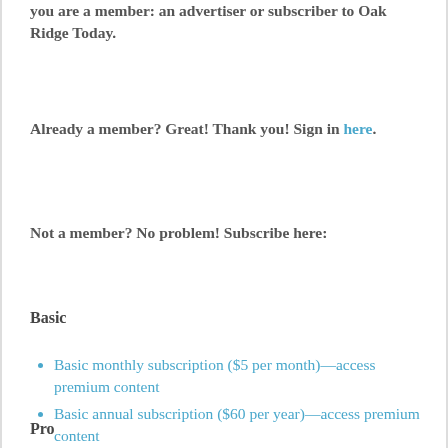you are a member: an advertiser or subscriber to Oak Ridge Today.
Already a member? Great! Thank you! Sign in here.
Not a member? No problem! Subscribe here:
Basic
Basic monthly subscription ($5 per month)—access premium content
Basic annual subscription ($60 per year)—access premium content
Pro